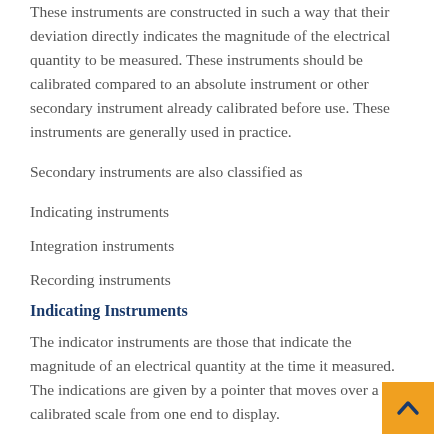These instruments are constructed in such a way that their deviation directly indicates the magnitude of the electrical quantity to be measured. These instruments should be calibrated compared to an absolute instrument or other secondary instrument already calibrated before use. These instruments are generally used in practice.
Secondary instruments are also classified as
Indicating instruments
Integration instruments
Recording instruments
Indicating Instruments
The indicator instruments are those that indicate the magnitude of an electrical quantity at the time it measured. The indications are given by a pointer that moves over a calibrated scale from one end to display.